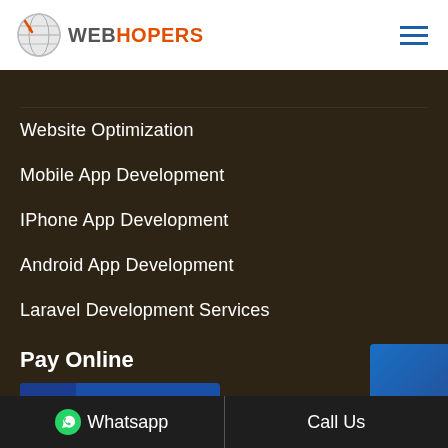WEBHOPERS
Website Optimization
Mobile App Development
IPhone App Development
Android App Development
Laravel Development Services
Pay Online
[Figure (other): Pay Now button secured by Razorpay]
ECOMMERCE SOLUTIONS
ECommerce Consultation
Whatsapp   Call Us